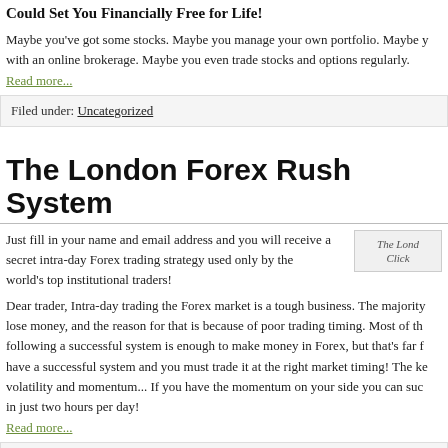Could Set You Financially Free for Life!
Maybe you've got some stocks. Maybe you manage your own portfolio. Maybe you have an account with an online brokerage. Maybe you even trade stocks and options regularly.
Read more...
Filed under: Uncategorized
The London Forex Rush System
Just fill in your name and email address and you will receive a secret intra-day Forex trading strategy used only by the world's top institutional traders!
[Figure (illustration): The London Forex Rush System image with Click link]
Dear trader, Intra-day trading the Forex market is a tough business. The majority lose money, and the reason for that is because of poor trading timing. Most of the following a successful system is enough to make money in Forex, but that's far from have a successful system and you must trade it at the right market timing! The key volatility and momentum... If you have the momentum on your side you can suc in just two hours per day!
Read more...
Tagged as: forex directory, forex market, forex resources, forex signals, forex traders, home business, making money online, market signals, online currency trading, trading signals